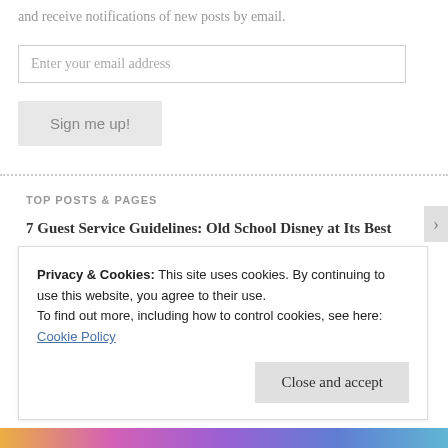and receive notifications of new posts by email.
Enter your email address
Sign me up!
TOP POSTS & PAGES
7 Guest Service Guidelines: Old School Disney at Its Best
Welcome to 27gen!
Privacy & Cookies: This site uses cookies. By continuing to use this website, you agree to their use.
To find out more, including how to control cookies, see here: Cookie Policy
Close and accept